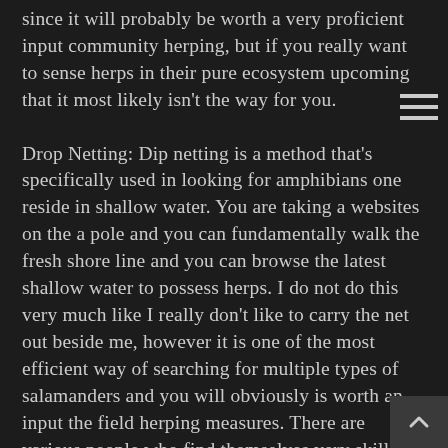since it will probably be worth a very proficient input community herping, but if you really want to sense herps in their pure ecosystem upcoming that it most likely isn't the way for you.

Drop Netting: Dip netting is a method that's specifically used in looking for amphibians one reside in shallow water. You are taking a websites on the a pole and you can fundamentally walk the fresh shore line and you can browse the latest shallow water to possess herps. I do not do this very much like I really don't like to carry the net out beside me, however it is one of the most efficient way of searching for multiple types of salamanders and you will obviously is worth an input the field herping measures. There are various people who find themselves very skilled using this type of method, plus it takes time and exercise to genuinely understand how to dip online effortlessly.